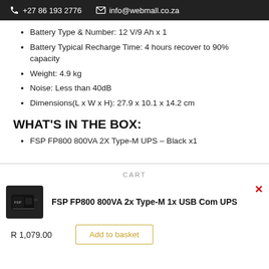+27 86 193 2776   info@webmall.co.za
Battery Type & Number: 12 V/9 Ah x 1
Battery Typical Recharge Time: 4 hours recover to 90% capacity
Weight: 4.9 kg
Noise: Less than 40dB
Dimensions(L x W x H): 27.9 x 10.1 x 14.2 cm
WHAT'S IN THE BOX:
FSP FP800 800VA 2X Type-M UPS – Black x1
CART
FSP FP800 800VA 2x Type-M 1x USB Com UPS
R 1,079.00
Add to basket